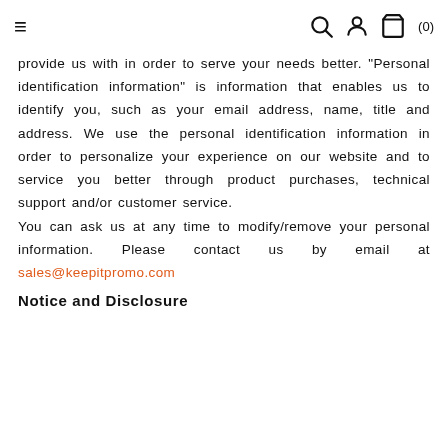≡  [search] [account] [cart] (0)
provide us with in order to serve your needs better. "Personal identification information" is information that enables us to identify you, such as your email address, name, title and address. We use the personal identification information in order to personalize your experience on our website and to service you better through product purchases, technical support and/or customer service.

You can ask us at any time to modify/remove your personal information. Please contact us by email at sales@keepitpromo.com
Notice and Disclosure